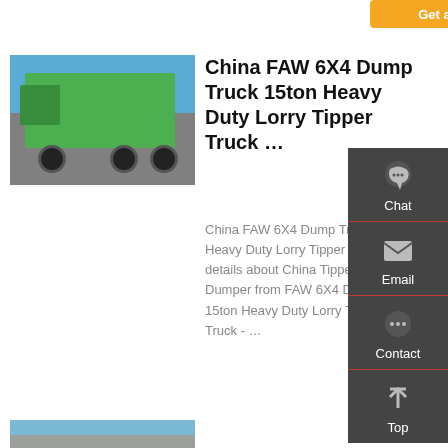[Figure (other): Orange 'Get a Quote' button at top of page]
[Figure (photo): Green China FAW 6X4 dump truck (tipper truck) parked on pavement with blue sky background]
China FAW 6X4 Dump Truck 15ton Heavy Duty Lorry Tipper Truck …
China FAW 6X4 Dump Truck 15ton Heavy Duty Lorry Tipper Truck, Find details about China Tipper Truck, Dumper from FAW 6X4 Dump Truck 15ton Heavy Duty Lorry Tipper Truck - …
[Figure (other): Orange 'Get a Quote' button below product description]
[Figure (other): Dark grey right sidebar with Chat, Email, Contact, and Top navigation icons]
[Figure (photo): Partial product image preview at bottom of page]